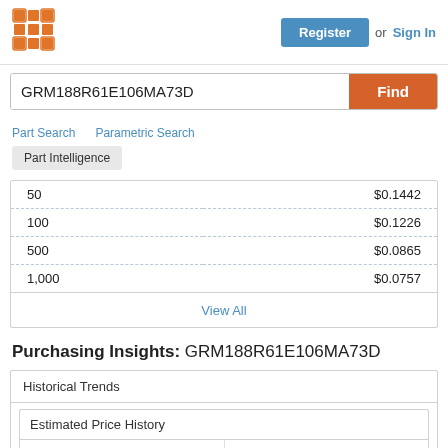Register  or  Sign In
GRM188R61E106MA73D  Find
Part Search   Parametric Search
Part Intelligence
| Qty | Price |
| --- | --- |
| 50 | $0.1442 |
| 100 | $0.1226 |
| 500 | $0.0865 |
| 1,000 | $0.0757 |
View All
Purchasing Insights: GRM188R61E106MA73D
Historical Trends
Estimated Price History
Aug 2021 - Present   Past 6 Months